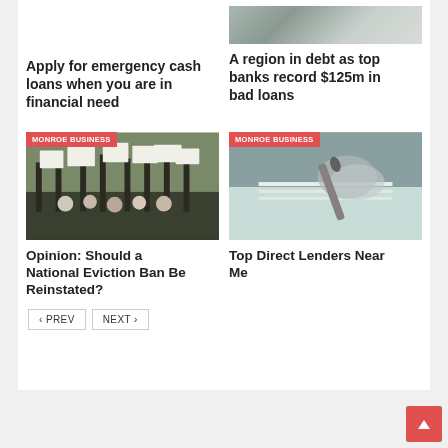Apply for emergency cash loans when you are in financial need
[Figure (photo): People walking on a street, top-right article image]
A region in debt as top banks record $125m in bad loans
[Figure (photo): Protest outside fenced building with signs - Monroe Business article]
Opinion: Should a National Eviction Ban Be Reinstated?
[Figure (photo): Person signing documents - Monroe Business article]
Top Direct Lenders Near Me